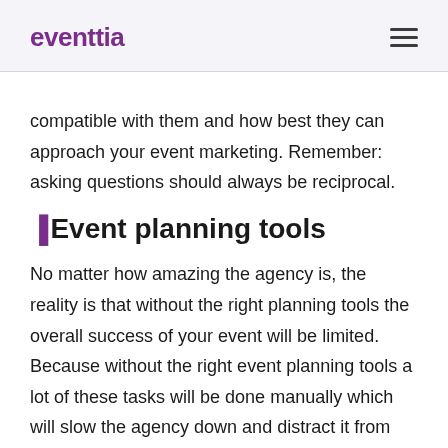eventtia
compatible with them and how best they can approach your event marketing. Remember: asking questions should always be reciprocal.
🔷Event planning tools
No matter how amazing the agency is, the reality is that without the right planning tools the overall success of your event will be limited. Because without the right event planning tools a lot of these tasks will be done manually which will slow the agency down and distract it from what matters most, creating an outstanding experience for your